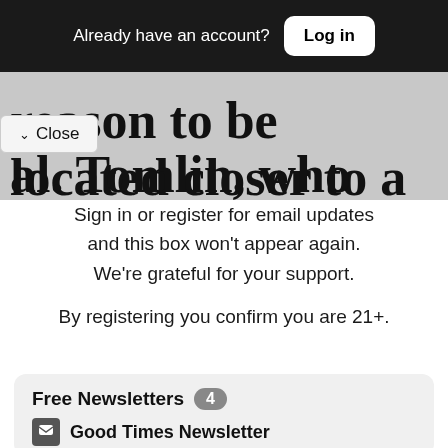Already have an account? Log in
reason to be located closer to a
Close
al. Tomlin, who graduated
Sign in or register for email updates and this box won't appear again. We're grateful for your support.
By registering you confirm you are 21+.
Free Newsletters 4
Good Times Newsletter